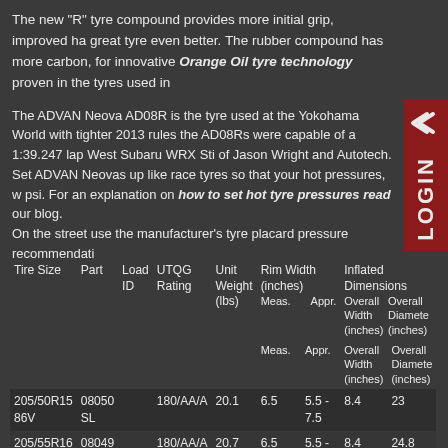The new "R" tyre compound provides more initial grip, improved ha great tyre even better. The rubber compound has more carbon, for innovative Orange Oil tyre technology proven in the tyres used in
The ADVAN Neova AD08R is the tyre used at the Yokohama World with tighter 2013 rules the AD08Rs were capable of a 1:39.247 lap West Subaru WRX Sti of Jason Wright and Autotech. Set ADVAN Neovas up like race tyres so that your hot pressures, w psi. For an explanation on how to set hot tyre pressures read our blog. On the street use the manufacturer's tyre placard pressure recommendati
| Tire Size | Part | Load ID | UTQG Rating | Unit Weight (lbs) | Rim Width (inches) Meas. | Rim Width (inches) Appr. | Inflated Dimensions Overall Width (inches) | Inflated Dimensions Overall Diameter (inches) |
| --- | --- | --- | --- | --- | --- | --- | --- | --- |
| 205/50R15 86V | 08050 SL |  | 180/AA/A | 20.1 | 6.5 | 5.5 - 7.5 | 8.4 | 23 |
| 205/55R16 91V | 08049 SL |  | 180/AA/A | 20.7 | 6.5 | 5.5 - 7.5 | 8.4 | 24.8 |
| 225/50R16 | 08062 SL |  | 180/AA/A | 23.2 | 7 | 6.0 - | 9.3 | 24.7 |